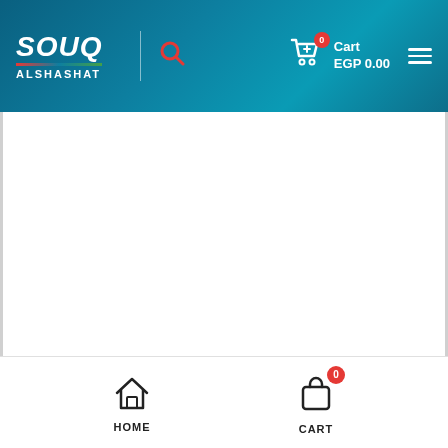[Figure (screenshot): Souq AlShashat e-commerce website header with logo, search icon, cart showing EGP 0.00, and hamburger menu on a teal/dark blue gradient background]
Cart EGP 0.00
[Figure (screenshot): Bottom mobile navigation bar with HOME and CART icons, CART showing badge count of 0]